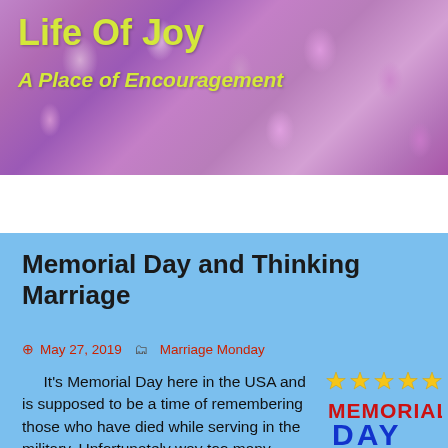Life Of Joy
A Place of Encouragement
Memorial Day and Thinking Marriage
May 27, 2019   Marriage Monday
It’s Memorial Day here in the USA and is supposed to be a time of remembering those who have died while serving in the military. Unfortunately way too many Americans don’t remember that and it is only a day off from work, a three-day weekend.
[Figure (illustration): Memorial Day graphic with gold stars arranged in two rows above and below bold text reading MEMORIAL DAY, where MEMORIAL is in red and DAY is in blue]